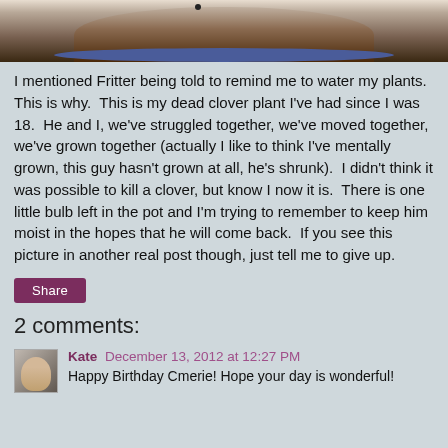[Figure (photo): Top portion of a photo showing a dark plant pot on a wooden surface, with a blue plate underneath]
I mentioned Fritter being told to remind me to water my plants.  This is why.  This is my dead clover plant I've had since I was 18.  He and I, we've struggled together, we've moved together, we've grown together (actually I like to think I've mentally grown, this guy hasn't grown at all, he's shrunk).  I didn't think it was possible to kill a clover, but know I now it is.  There is one little bulb left in the pot and I'm trying to remember to keep him moist in the hopes that he will come back.  If you see this picture in another real post though, just tell me to give up.
Share
2 comments:
Kate  December 13, 2012 at 12:27 PM
Happy Birthday Cmerie! Hope your day is wonderful!